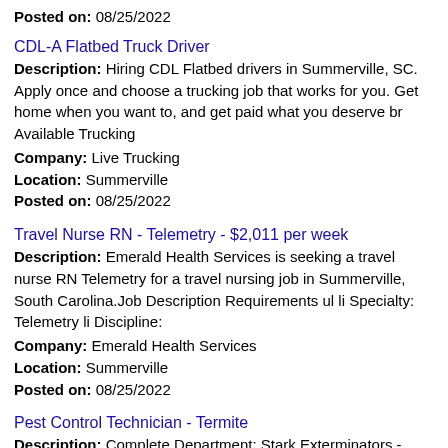Location: Summerville
Posted on: 08/25/2022
CDL-A Flatbed Truck Driver
Description: Hiring CDL Flatbed drivers in Summerville, SC. Apply once and choose a trucking job that works for you. Get home when you want to, and get paid what you deserve br Available Trucking
Company: Live Trucking
Location: Summerville
Posted on: 08/25/2022
Travel Nurse RN - Telemetry - $2,011 per week
Description: Emerald Health Services is seeking a travel nurse RN Telemetry for a travel nursing job in Summerville, South Carolina.Job Description Requirements ul li Specialty: Telemetry li Discipline:
Company: Emerald Health Services
Location: Summerville
Posted on: 08/25/2022
Pest Control Technician - Termite
Description: Complete Department: Stark Exterminators - Region 11 - 5111 - N Charleston Location: Summerville, SC, USAFull TimePest Control Technician - TermiteStark Exterminators is looking to hire a full-time Termite (more...)
Company: Stark Exterminators